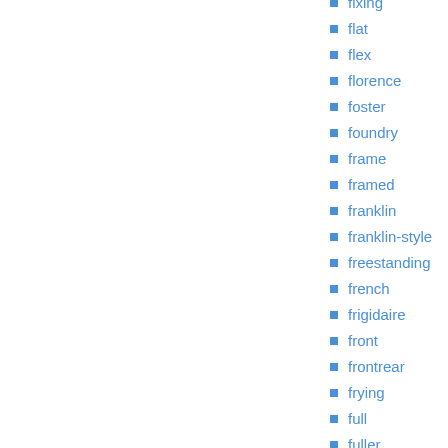fixing
flat
flex
florence
foster
foundry
frame
framed
franklin
franklin-style
freestanding
french
frigidaire
front
frontrear
frying
full
fuller